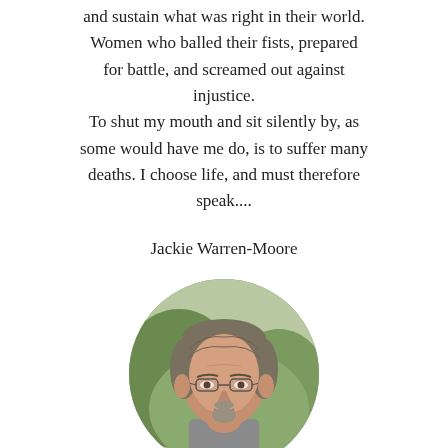and sustain what was right in their world. Women who balled their fists, prepared for battle, and screamed out against injustice. To shut my mouth and sit silently by, as some would have me do, is to suffer many deaths. I choose life, and must therefore speak....
Jackie Warren-Moore
[Figure (photo): Circular portrait photo of a middle-aged man with glasses, short gray-streaked hair, and a goatee, photographed outdoors with blurred greenery in the background.]